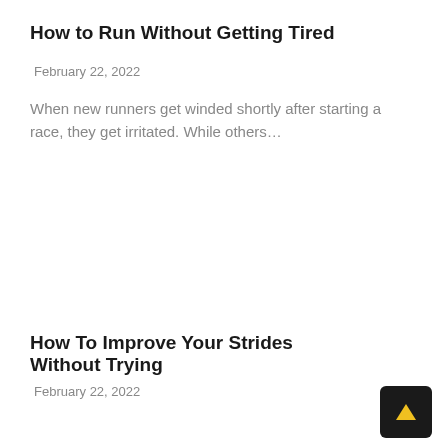How to Run Without Getting Tired
February 22, 2022
When new runners get winded shortly after starting a race, they get irritated. While others…
How To Improve Your Strides Without Trying
February 22, 2022